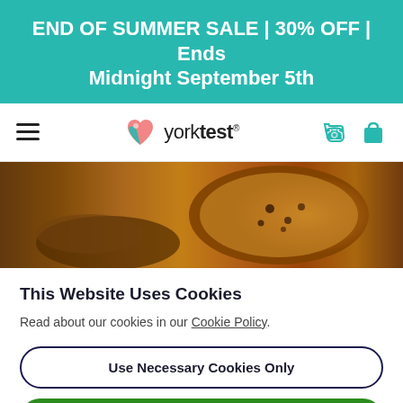END OF SUMMER SALE | 30% OFF | Ends Midnight September 5th
[Figure (logo): YorkTest logo with heart-shaped icon in pink and teal, brand name 'yorktest' with registered mark]
[Figure (photo): Close-up food photo showing baked goods, pizza or pastry with golden brown surface]
This Website Uses Cookies
Read about our cookies in our Cookie Policy.
Use Necessary Cookies Only
Allow All Cookies
Show Details